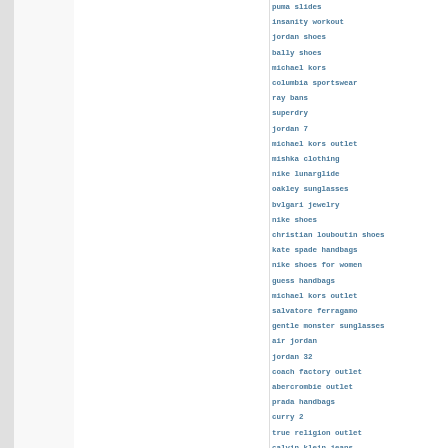puma slides
insanity workout
jordan shoes
bally shoes
michael kors
columbia sportswear
ray bans
superdry
jordan 7
michael kors outlet
mishka clothing
nike lunarglide
oakley sunglasses
bvlgari jewelry
nike shoes
christian louboutin shoes
kate spade handbags
nike shoes for women
guess handbags
michael kors outlet
salvatore ferragamo
gentle monster sunglasses
air jordan
jordan 32
coach factory outlet
abercrombie outlet
prada handbags
curry 2
true religion outlet
calvin klein jeans
chrome hearts jewelry
ray ban
jordan 8
polo ralph
james harden jerseys
michael kors outlet online
polo ralph lauren
oakley sunglasses
kate spade outlet
belstaff outlet
adidas stan smith